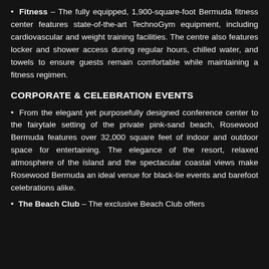Fitness – The fully equipped, 1,900-square-foot Bermuda fitness center features state-of-the-art TechnoGym equipment, including cardiovascular and weight training facilities. The centre also features locker and shower access during regular hours, chilled water, and towels to ensure guests remain comfortable while maintaining a fitness regimen.
CORPORATE & CELEBRATION EVENTS
From the elegant yet purposefully designed conference center to the fairytale setting of the private pink-sand beach, Rosewood Bermuda features over 32,000 square feet of indoor and outdoor space for entertaining. The elegance of the resort, relaxed atmosphere of the island and the spectacular coastal views make Rosewood Bermuda an ideal venue for black-tie events and barefoot celebrations alike.
The Beach Club – The exclusive Beach Club offers